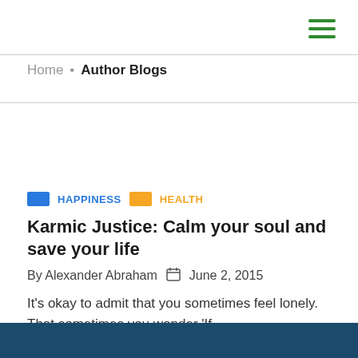≡ (hamburger menu icon)
Home • Author Blogs
HAPPINESS  HEALTH
Karmic Justice: Calm your soul and save your life
By Alexander Abraham  June 2, 2015
It's okay to admit that you sometimes feel lonely. That sometimes you wonder 'If